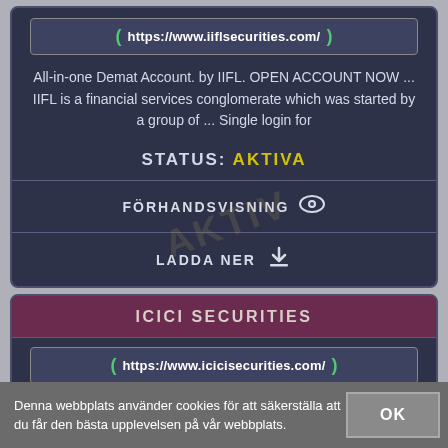https://www.iiflsecurities.com/
All-in-one Demat Account. by IIFL. OPEN ACCOUNT NOW ... IIFL is a financial services conglomerate which was started by a group of ... Single login for
STATUS: AKTIVA
FÖRHANDSVISNING
LADDA NER
ICICI SECURITIES
https://www.icicisecurities.com/
13 Aug 2018 ... ... services under the brand ICICIdirect Investment Advisory
Denna webbplats använder cookies för att säkerställa att du får den bästa upplevelsen på vår webbplats.